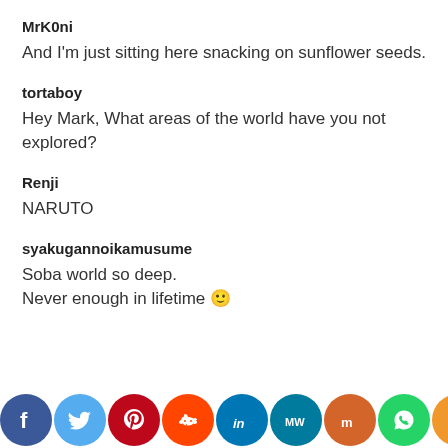MrK0ni
And I'm just sitting here snacking on sunflower seeds.
tortaboy
Hey Mark, What areas of the world have you not explored?
Renji
NARUTO
syakugannoikamusume
Soba world so deep.
Never enough in lifetime 🙂
[Figure (infographic): Social media sharing bar with icons for Facebook, Twitter, Pinterest, Reddit, LinkedIn, MW, Mix, WhatsApp, and a generic share button]